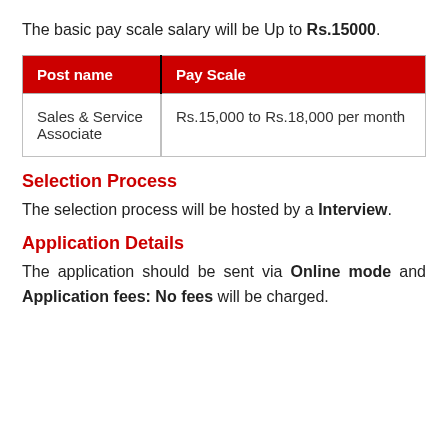The basic pay scale salary will be Up to Rs.15000.
| Post name | Pay Scale |
| --- | --- |
| Sales & Service Associate | Rs.15,000 to Rs.18,000 per month |
Selection Process
The selection process will be hosted by a Interview.
Application Details
The application should be sent via Online mode and Application fees: No fees will be charged.